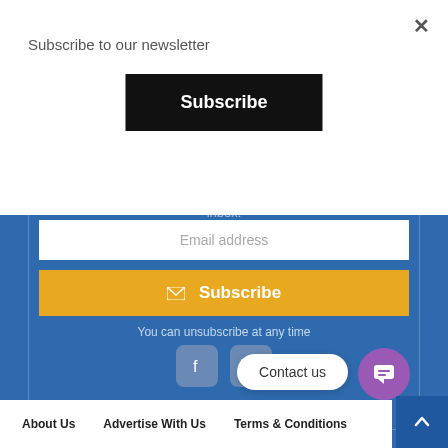×
Subscribe to our newsletter
Subscribe
inbox.
Email address
Subscribe
You can unsubscribe at any time
[Figure (infographic): Facebook and Twitter social media icons]
Contact us
[Figure (infographic): Purple chat bubble circle icon]
[Figure (infographic): White up arrow on blue square]
About Us   Advertise With Us   Terms & Conditions